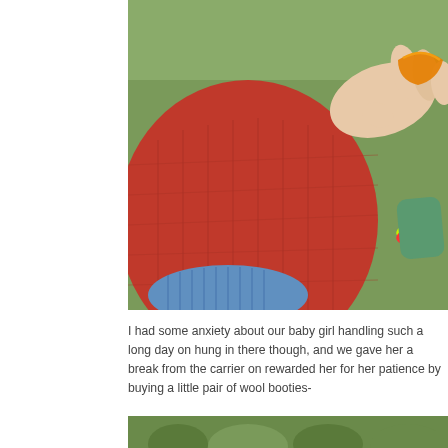[Figure (photo): Close-up photo of a child in a red quilted jacket and blue striped shirt, with an adult hand holding colorful rubber band bracelets near the child's wrist. Green foliage visible in background.]
I had some anxiety about our baby girl handling such a long day on... hung in there though, and we gave her a break from the carrier on... rewarded her for her patience by buying a little pair of wool booties-
[Figure (photo): Bottom portion of an outdoor photo showing green foliage/plants, partially visible.]